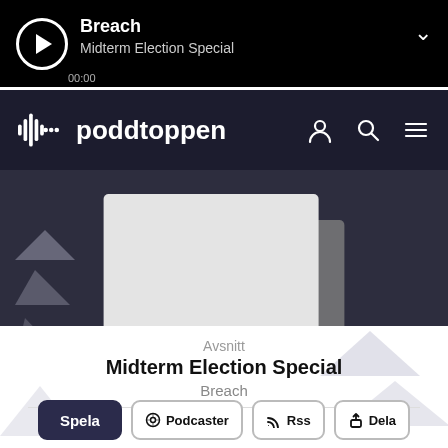[Figure (screenshot): Podcast player bar showing play button, episode title 'Breach', subtitle 'Midterm Election Special', time 00:00, and a chevron down icon]
[Figure (logo): Poddtoppen logo with waveform icon and text 'poddtoppen', with user, search, and menu icons]
[Figure (photo): Podcast cover art placeholder (light gray card with dark shadow) centered on dark background]
Avsnitt
Midterm Election Special
Breach
[Figure (infographic): Action buttons row: Spela (dark filled), Podcaster (with podcast icon), Rss (with RSS icon), Dela (with share icon)]